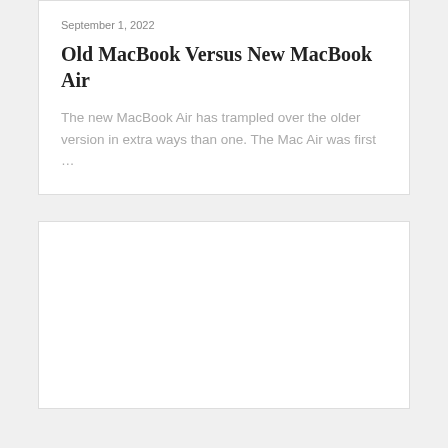September 1, 2022
Old MacBook Versus New MacBook Air
The new MacBook Air has trampled over the older version in extra ways than one. The Mac Air was first …
[Figure (other): Empty white card/placeholder box]